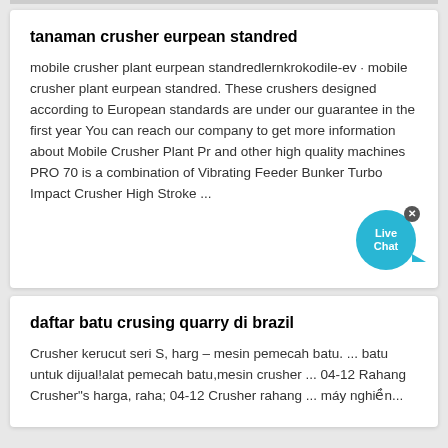tanaman crusher eurpean standred
mobile crusher plant eurpean standredlernkrokodile-ev · mobile crusher plant eurpean standred. These crushers designed according to European standards are under our guarantee in the first year You can reach our company to get more information about Mobile Crusher Plant Pr and other high quality machines PRO 70 is a combination of Vibrating Feeder Bunker Turbo Impact Crusher High Stroke ...
daftar batu crusing quarry di brazil
Crusher kerucut seri S, harg – mesin pemecah batu. ... batu untuk dijual!alat pemecah batu,mesin crusher ... 04-12 Rahang Crusher"s harga, raha; 04-12 Crusher rahang ... máy nghiền...